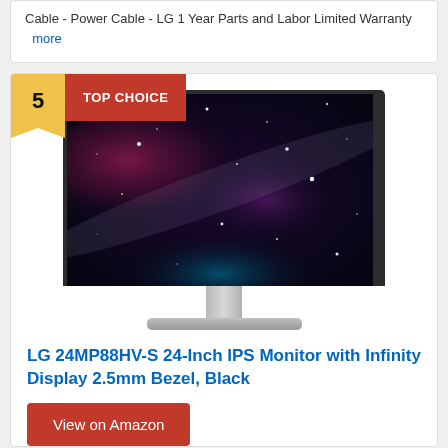Cable - Power Cable - LG 1 Year Parts and Labor Limited Warranty  more
[Figure (photo): LG 24MP88HV-S monitor product photo showing galaxy/nebula wallpaper on screen with silver stand]
LG 24MP88HV-S 24-Inch IPS Monitor with Infinity Display 2.5mm Bezel, Black
View on Amazon